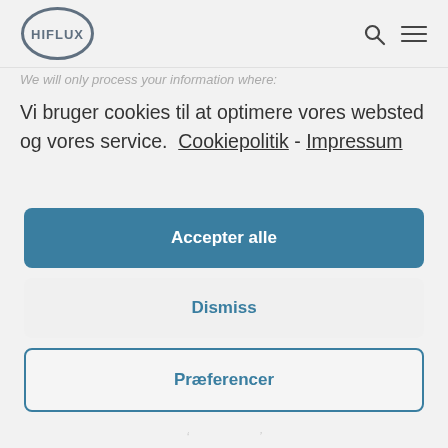HIFLUX logo, search icon, menu icon
We will only process your information where:
Vi bruger cookies til at optimere vores websted og vores service.  Cookiepolitik - Impressum
Accepter alle
Dismiss
Præferencer